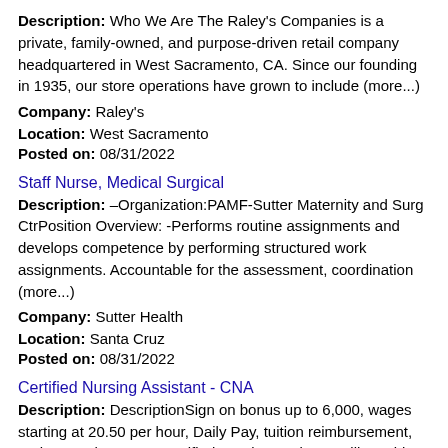Description: Who We Are The Raley's Companies is a private, family-owned, and purpose-driven retail company headquartered in West Sacramento, CA. Since our founding in 1935, our store operations have grown to include (more...)
Company: Raley's
Location: West Sacramento
Posted on: 08/31/2022
Staff Nurse, Medical Surgical
Description: –Organization:PAMF-Sutter Maternity and Surg CtrPosition Overview: -Performs routine assignments and develops competence by performing structured work assignments. Accountable for the assessment, coordination (more...)
Company: Sutter Health
Location: Santa Cruz
Posted on: 08/31/2022
Certified Nursing Assistant - CNA
Description: DescriptionSign on bonus up to 6,000, wages starting at 20.50 per hour, Daily Pay, tuition reimbursement, and more The CNA - Certified Nursing Assistant will provide basic nursing care to patients and (more...)
Company: ProMedica Senior Care